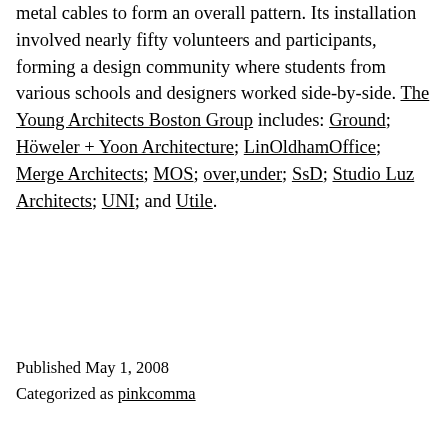metal cables to form an overall pattern. Its installation involved nearly fifty volunteers and participants, forming a design community where students from various schools and designers worked side-by-side. The Young Architects Boston Group includes: Ground; Höweler + Yoon Architecture; LinOldhamOffice; Merge Architects; MOS; over,under; SsD; Studio Luz Architects; UNI; and Utile.
Published May 1, 2008
Categorized as pinkcomma